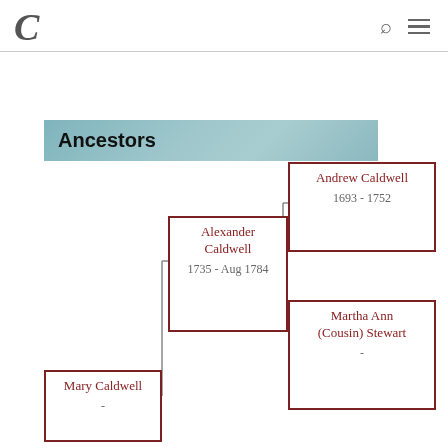C
Ancestors
[Figure (organizational-chart): Genealogy ancestor tree showing: Mary Caldwell (bottom left), Alexander Caldwell 1735 - Aug 1784 (middle), Andrew Caldwell 1693 - 1752 (top right), Martha Ann (Cousin) Stewart - (bottom right)]
Andrew Caldwell
1693 - 1752
Alexander Caldwell
1735 - Aug 1784
Martha Ann (Cousin) Stewart
-
Mary Caldwell
-